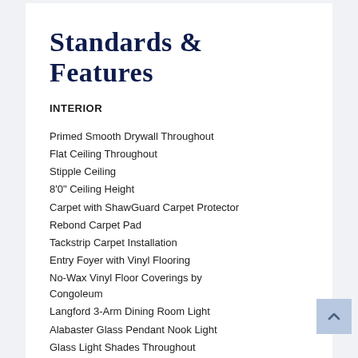Standards & Features
INTERIOR
Primed Smooth Drywall Throughout
Flat Ceiling Throughout
Stipple Ceiling
8'0" Ceiling Height
Carpet with ShawGuard Carpet Protector
Rebond Carpet Pad
Tackstrip Carpet Installation
Entry Foyer with Vinyl Flooring
No-Wax Vinyl Floor Coverings by Congoleum
Langford 3-Arm Dining Room Light
Alabaster Glass Pendant Nook Light
Glass Light Shades Throughout
3 1/4" Window & Door Trim